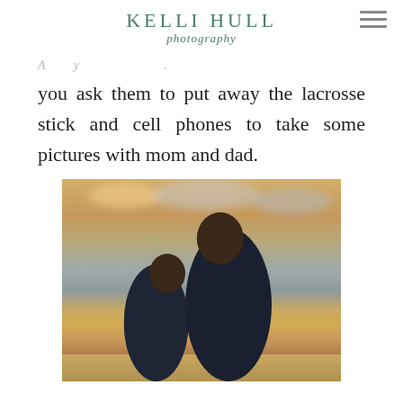KELLI HULL photography
you ask them to put away the lacrosse stick and cell phones to take some pictures with mom and dad.
[Figure (photo): A father and son smiling together outdoors at sunset/golden hour, against a dramatic sky with warm orange and grey clouds. The father stands behind the son, both appear to be of African-American descent wearing dark clothing.]